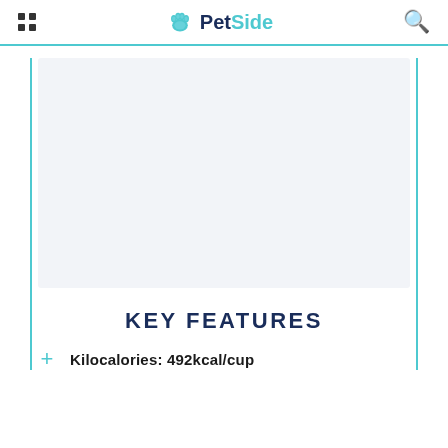PetSide
[Figure (photo): Large image placeholder area with light gray background, representing a product photo]
KEY FEATURES
Kilocalories: 492kcal/cup